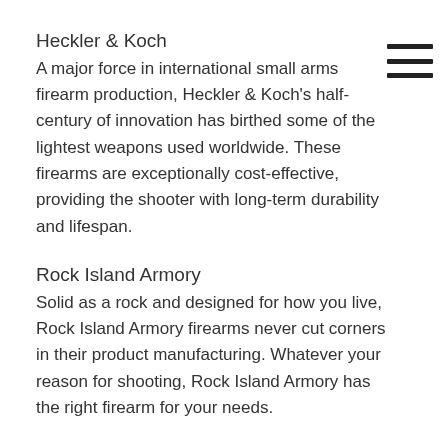Heckler & Koch
A major force in international small arms firearm production, Heckler & Koch’s half-century of innovation has birthed some of the lightest weapons used worldwide. These firearms are exceptionally cost-effective, providing the shooter with long-term durability and lifespan.
Rock Island Armory
Solid as a rock and designed for how you live, Rock Island Armory firearms never cut corners in their product manufacturing. Whatever your reason for shooting, Rock Island Armory has the right firearm for your needs.
Del-Ton
If you love AR-15s, you’re in good company with Del-ton. This manufacturer was born with a passion for the AR-15 and has spent years devoting their time